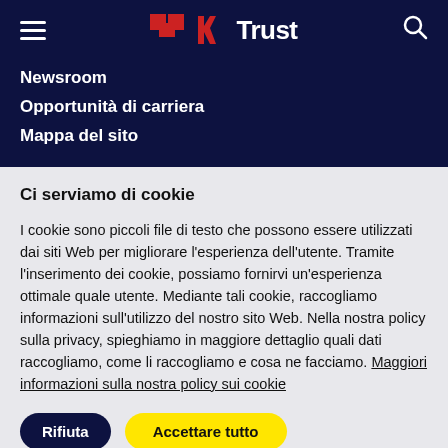[Figure (logo): Trust brand logo with red icon and white text on dark navy background, with hamburger menu icon on left and search icon on right]
Newsroom
Opportunità di carriera
Mappa del sito
Ci serviamo di cookie
I cookie sono piccoli file di testo che possono essere utilizzati dai siti Web per migliorare l'esperienza dell'utente. Tramite l'inserimento dei cookie, possiamo fornirvi un'esperienza ottimale quale utente. Mediante tali cookie, raccogliamo informazioni sull'utilizzo del nostro sito Web. Nella nostra policy sulla privacy, spieghiamo in maggiore dettaglio quali dati raccogliamo, come li raccogliamo e cosa ne facciamo. Maggiori informazioni sulla nostra policy sui cookie
Rifiuta | Accettare tutto
Impostazioni dei cookie